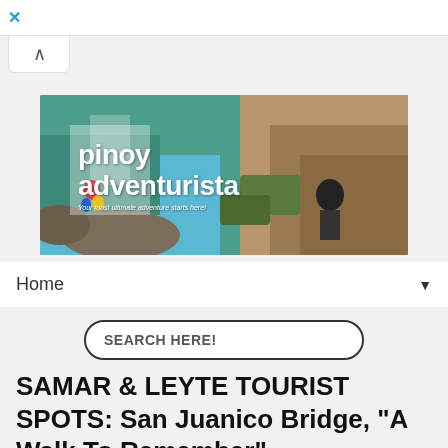X
[Figure (screenshot): Up-arrow navigation tab button]
[Figure (photo): Pinoy Adventurista website banner showing a waterfall/river scene with a person sitting on rocks, with the site logo and tagline]
Home
SEARCH HERE!
SAMAR & LEYTE TOURIST SPOTS: San Juanico Bridge, "A Walk To Remember"